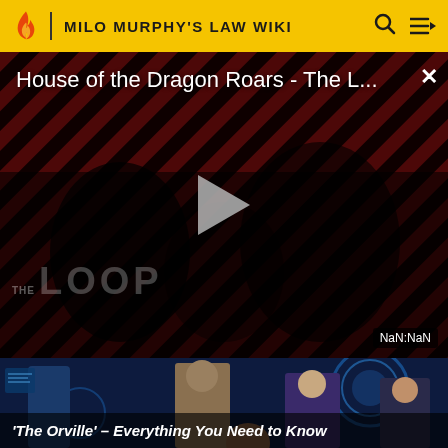MILO MURPHY'S LAW WIKI
[Figure (screenshot): Video player showing 'House of the Dragon Roars - The L...' with diagonal red/dark stripe background, a play button in the center, 'THE LOOP' watermark, and NaN:NaN timestamp in bottom right corner. Close (X) button in top right.]
[Figure (photo): Scene from 'The Orville' showing characters in uniform standing on the ship bridge with blue holographic displays in background.]
'The Orville' – Everything You Need to Know